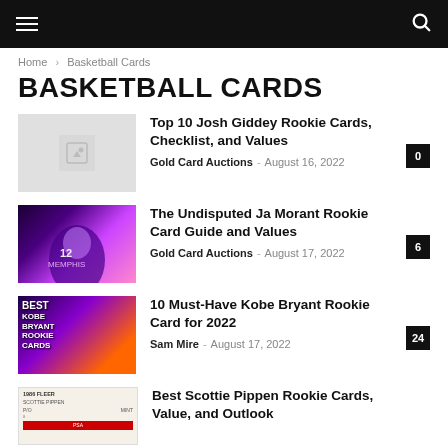Navigation bar with hamburger menu and search icon
Home › Basketball Cards
BASKETBALL CARDS
[Figure (photo): Placeholder image thumbnail for Josh Giddey article]
Top 10 Josh Giddey Rookie Cards, Checklist, and Values
Gold Card Auctions – August 16, 2022  0
[Figure (photo): Ja Morant basketball card image with purple/pink neon effect, jersey #12]
The Undisputed Ja Morant Rookie Card Guide and Values
Gold Card Auctions – August 17, 2022  6
[Figure (photo): Best Kobe Bryant Rookie Cards text overlay on colorful background]
10 Must-Have Kobe Bryant Rookie Card for 2022
Sam Mire – August 17, 2022  24
[Figure (photo): Scottie Pippen PSA graded basketball card]
Best Scottie Pippen Rookie Cards, Value, and Outlook